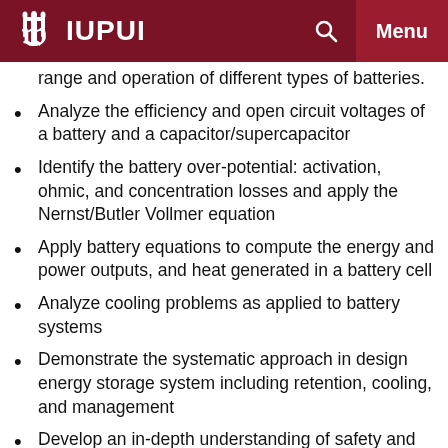IUPUI
range and operation of different types of batteries.
Analyze the efficiency and open circuit voltages of a battery and a capacitor/supercapacitor
Identify the battery over-potential: activation, ohmic, and concentration losses and apply the Nernst/Butler Vollmer equation
Apply battery equations to compute the energy and power outputs, and heat generated in a battery cell
Analyze cooling problems as applied to battery systems
Demonstrate the systematic approach in design energy storage system including retention, cooling, and management
Develop an in-depth understanding of safety and regulatory issues regarding transportation, storage